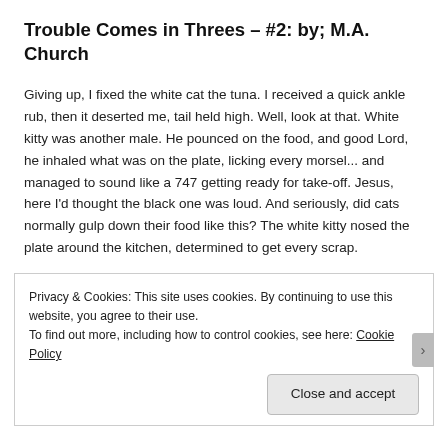Trouble Comes in Threes – #2: by; M.A. Church
Giving up, I fixed the white cat the tuna. I received a quick ankle rub, then it deserted me, tail held high. Well, look at that. White kitty was another male. He pounced on the food, and good Lord, he inhaled what was on the plate, licking every morsel... and managed to sound like a 747 getting ready for take-off. Jesus, here I'd thought the black one was loud. And seriously, did cats normally gulp down their food like this? The white kitty nosed the plate around the kitchen, determined to get every scrap.
Privacy & Cookies: This site uses cookies. By continuing to use this website, you agree to their use.
To find out more, including how to control cookies, see here: Cookie Policy